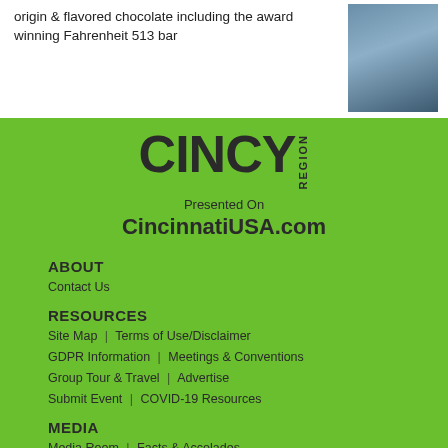origin & flavored chocolate including the award winning Fahrenheit 513 bar
[Figure (photo): Photo of people holding chocolate items]
[Figure (logo): CINCY REGION logo in bold dark text on green background]
Presented On
CincinnatiUSA.com
ABOUT
Contact Us
RESOURCES
Site Map | Terms of Use/Disclaimer
GDPR Information | Meetings & Conventions
Group Tour & Travel | Advertise
Submit Event | COVID-19 Resources
MEDIA
Media Room | Facts & Accolades
Media Library | Media Inquiry